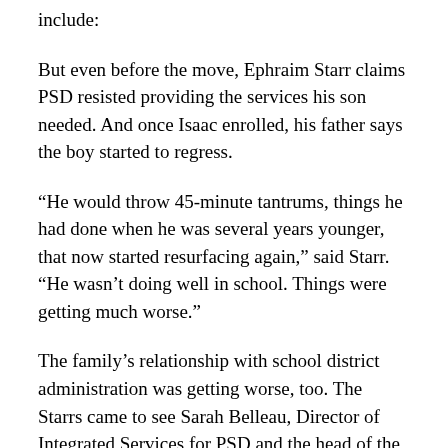include:
But even before the move, Ephraim Starr claims PSD resisted providing the services his son needed. And once Isaac enrolled, his father says the boy started to regress.
“He would throw 45-minute tantrums, things he had done when he was several years younger, that now started resurfacing again,” said Starr. “He wasn’t doing well in school. Things were getting much worse.”
The family’s relationship with school district administration was getting worse, too. The Starrs came to see Sarah Belleau, Director of Integrated Services for PSD and the head of the district’s special education department, as an adversary in getting Isaac the services he needed.